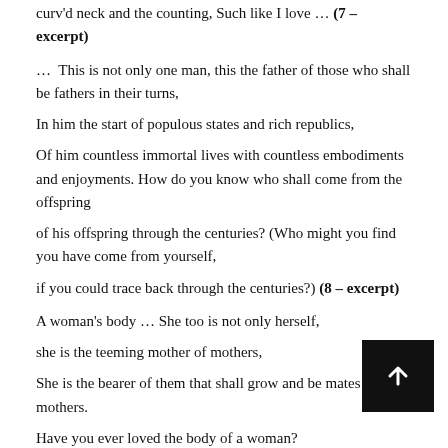curv'd neck and the counting, Such like I love … (7 – excerpt)
…  This is not only one man, this the father of those who shall be fathers in their turns,
In him the start of populous states and rich republics,
Of him countless immortal lives with countless embodiments and enjoyments. How do you know who shall come from the offspring
of his offspring through the centuries? (Who might you find you have come from yourself,
if you could trace back through the centuries?) (8 – excerpt)
A woman's body … She too is not only herself,
she is the teeming mother of mothers,
She is the bearer of them that shall grow and be mates to the mothers.
Have you ever loved the body of a woman?